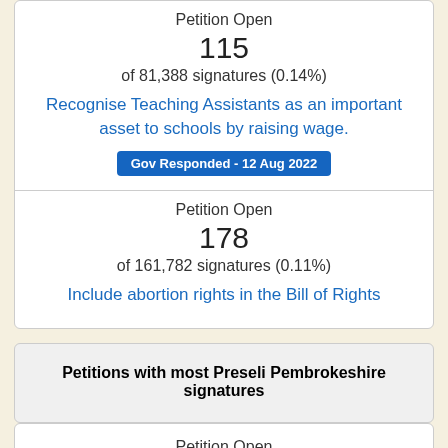Petition Open
115
of 81,388 signatures (0.14%)
Recognise Teaching Assistants as an important asset to schools by raising wage.
Gov Responded - 12 Aug 2022
Petition Open
178
of 161,782 signatures (0.11%)
Include abortion rights in the Bill of Rights
Petitions with most Preseli Pembrokeshire signatures
Petition Open
365